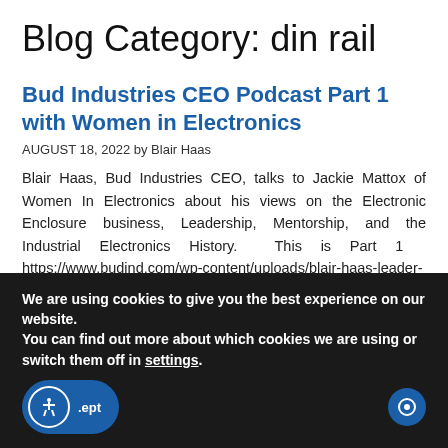Blog Category: din rail
Bud Industries CEO Podcast Part 1 with Women in Electronics
AUGUST 18, 2022 by Blair Haas
Blair Haas, Bud Industries CEO, talks to Jackie Mattox of Women In Electronics about his views on the Electronic Enclosure business, Leadership, Mentorship, and the Industrial Electronics History.  This is Part 1   https://www.budind.com/wp-content/uploads/blair-haas-leader-in-highlight-series-part-1.mp3
We are using cookies to give you the best experience on our website.
You can find out more about which cookies we are using or switch them off in settings.